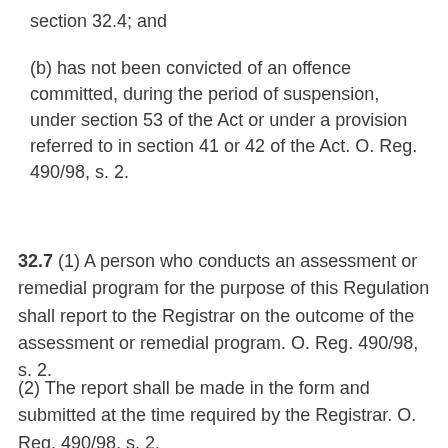section 32.4; and
(b) has not been convicted of an offence committed, during the period of suspension, under section 53 of the Act or under a provision referred to in section 41 or 42 of the Act. O. Reg. 490/98, s. 2.
32.7 (1) A person who conducts an assessment or remedial program for the purpose of this Regulation shall report to the Registrar on the outcome of the assessment or remedial program. O. Reg. 490/98, s. 2.
(2) The report shall be made in the form and submitted at the time required by the Registrar. O. Reg. 490/98, s. 2.